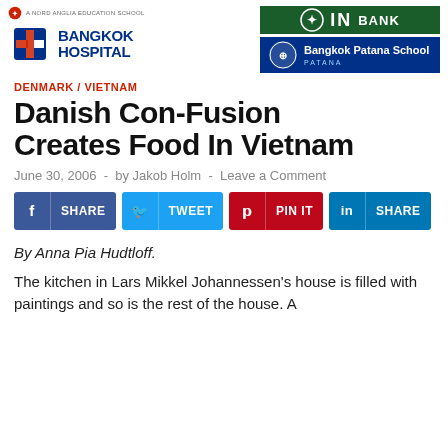[Figure (logo): Nord Anglia Education School logo with text]
[Figure (logo): Bangkok Hospital logo with red cross and blue bold text]
[Figure (logo): TNBank green banner logo]
[Figure (logo): Bangkok Patana School blue banner logo]
DENMARK / VIETNAM
Danish Con-Fusion Creates Food In Vietnam
June 30, 2006 - by Jakob Holm - Leave a Comment
[Figure (infographic): Social share buttons: SHARE (Facebook), TWEET (Twitter), PIN IT (Pinterest), SHARE (LinkedIn)]
By Anna Pia Hudtloff.
The kitchen in Lars Mikkel Johannessen's house is filled with paintings and so is the rest of the house. A